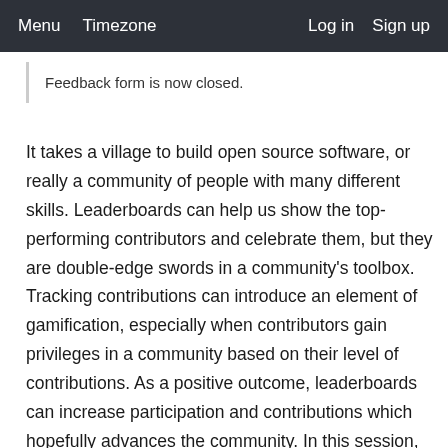Menu   Timezone   Log in   Sign up
Feedback form is now closed.
It takes a village to build open source software, or really a community of people with many different skills. Leaderboards can help us show the top-performing contributors and celebrate them, but they are double-edge swords in a community's toolbox. Tracking contributions can introduce an element of gamification, especially when contributors gain privileges in a community based on their level of contributions. As a positive outcome, leaderboards can increase participation and contributions which hopefully advances the community. In this session, we will discuss the use of leaderboards and alternative metrics we can use, with a brief introduction to leaderboards, how to implement them, and examples of successful and catastrophic uses. The insights shared in this talk come